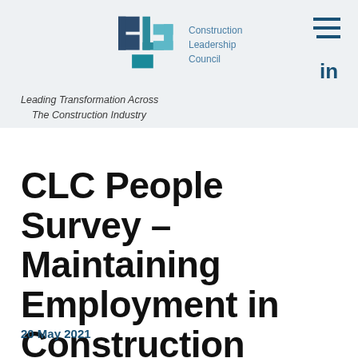[Figure (logo): CLC Construction Leadership Council logo with teal and dark blue geometric blocks forming letters C-L-C, with organisation name to the right]
Leading Transformation Across
    The Construction Industry
CLC People Survey – Maintaining Employment in Construction
20 May 2021